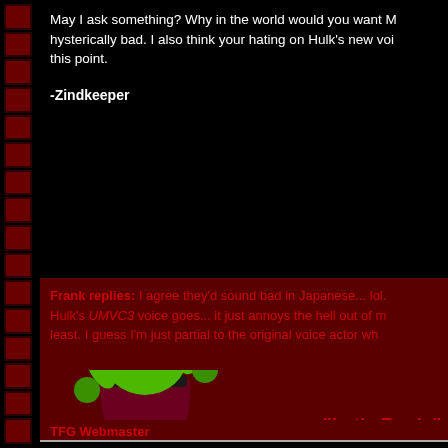May I ask something? Why in the world would you want M... hysterically bad. I also think your hating on Hulk's new voi... this point.
-Zindkeeper
Frank replies: I agree they'd sound bad in Japanese... lol. Hulk's UMVC3 voice goes... it just annoys the hell out of me at least. I guess I'm just partial to the original voice actor wh...
[Figure (illustration): Pixel art / cartoon sprite of the Hulk character standing in a fighting stance, green skin, dark red/purple pants, against a dark red background]
"Let's Rock."
TFG Webmaster